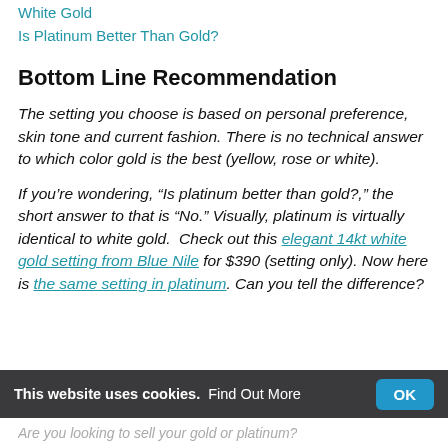White Gold
Is Platinum Better Than Gold?
Bottom Line Recommendation
The setting you choose is based on personal preference, skin tone and current fashion. There is no technical answer to which color gold is the best (yellow, rose or white).
If you’re wondering, “Is platinum better than gold?,” the short answer to that is “No.” Visually, platinum is virtually identical to white gold.  Check out this elegant 14kt white gold setting from Blue Nile for $390 (setting only). Now here is the same setting in platinum. Can you tell the difference?
This website uses cookies. Find Out More   OK
Are you looking to sell your gold or platinum?